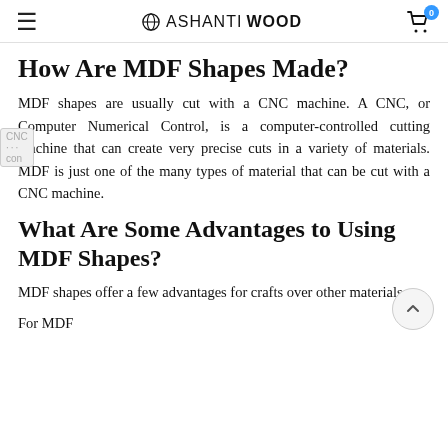ASHANTIWOOD
How Are MDF Shapes Made?
MDF shapes are usually cut with a CNC machine. A CNC, or Computer Numerical Control, is a computer-controlled cutting machine that can create very precise cuts in a variety of materials. MDF is just one of the many types of material that can be cut with a CNC machine.
What Are Some Advantages to Using MDF Shapes?
MDF shapes offer a few advantages for crafts over other materials.